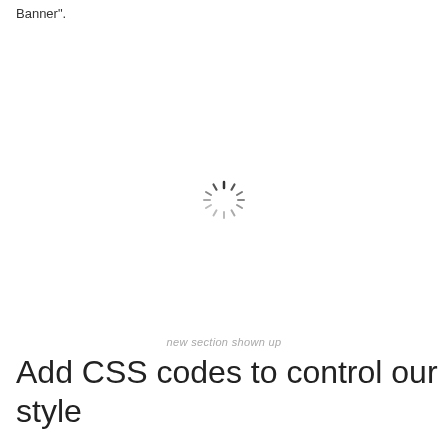Banner".
[Figure (other): A loading spinner graphic (circular dashed spinner icon) centered on the page]
new section shown up
Add CSS codes to control our style